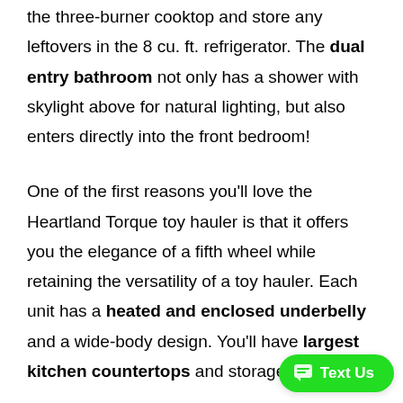the three-burner cooktop and store any leftovers in the 8 cu. ft. refrigerator. The dual entry bathroom not only has a shower with skylight above for natural lighting, but also enters directly into the front bedroom!
One of the first reasons you'll love the Heartland Torque toy hauler is that it offers you the elegance of a fifth wheel while retaining the versatility of a toy hauler. Each unit has a heated and enclosed underbelly and a wide-body design. You'll have largest kitchen countertops and storage